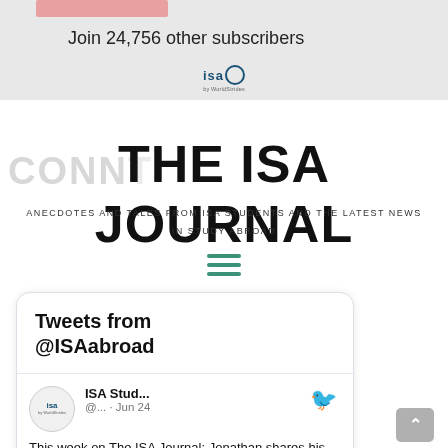Join 24,756 other subscribers
THE ISA JOURNAL
ANECDOTES AND TALES FROM ISA STUDENTS AND THE LATEST NEWS IN STUDY ABROAD
[Figure (screenshot): Tweets from @ISAabroad widget showing ISA Stud... @... · Jun 24 tweet: This week on The ISA Journal: Jonathan shares his experience visiting the Amazon Rainforest 🌳, Kereine and Marisol]